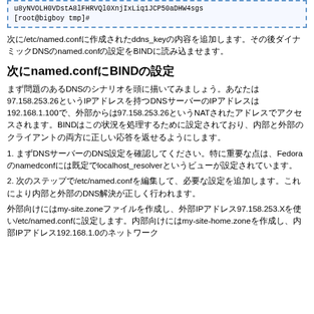[Figure (screenshot): Terminal/code box showing: u8yNVOLH0VDstA8lFHRVQl0XnjIxLiq1JCP50aDHW4sgs and [root@bigboy tmp]#]
次に/etc/named.confに作成されたddns_keyの内容を追加します。その後ダイナミックDNSのnamed.confの設定をBINDに読み込ませます。
次にnamed.confにBINDの設定
まず問題のあるDNSのシナリオを頭に描いてみましょう。あなたは97.158.253.26というIPアドレスを持つDNSサーバーのIPアドレスは192.168.1.100で、外部からは97.158.253.26というNATされたアドレスでアクセスされます。BINDはこの状況を処理するために設定されており、内部と外部のクライアントの両方に正しい応答を返せるようにします。
1. まずDNSサーバーのDNS設定を確認してください。特に重要な点は、Fedoraのnamed.confには既定でlocalhost_resolverというビューが設定されています。
2. 次のステップで/etc/named.confを編集して、必要な設定を追加します。これにより内部と外部のDNS解決が正しく行われます。
外部向けにはmy-site.zoneファイルを作成し、外部IPアドレス97.158.253.Xを使い/etc/named.confに設定します。内部向けにはmy-site-home.zoneを作成し、内部IPアドレス192.168.1.0のネットワーク